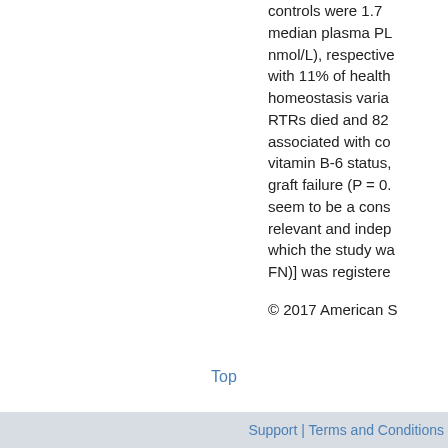controls were 1.77 median plasma PL nmol/L), respectively with 11% of health homeostasis varia RTRs died and 82 associated with co vitamin B-6 status, graft failure (P = 0. seem to be a cons relevant and indep which the study wa FN)] was registere
© 2017 American S
Top
Support | Terms and Conditions